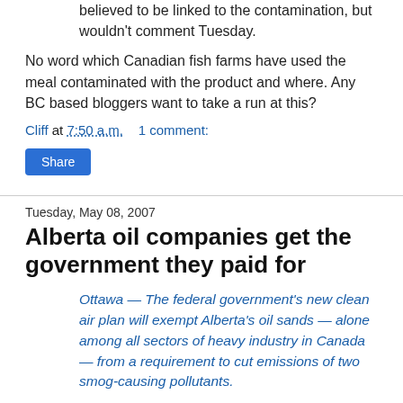believed to be linked to the contamination, but wouldn't comment Tuesday.
No word which Canadian fish farms have used the meal contaminated with the product and where. Any BC based bloggers want to take a run at this?
Cliff at 7:50 a.m.    1 comment:
Share
Tuesday, May 08, 2007
Alberta oil companies get the government they paid for
Ottawa — The federal government's new clean air plan will exempt Alberta's oil sands — alone among all sectors of heavy industry in Canada — from a requirement to cut emissions of two smog-causing pollutants.
Here in Ottawa with the news on, hear it thinks land is